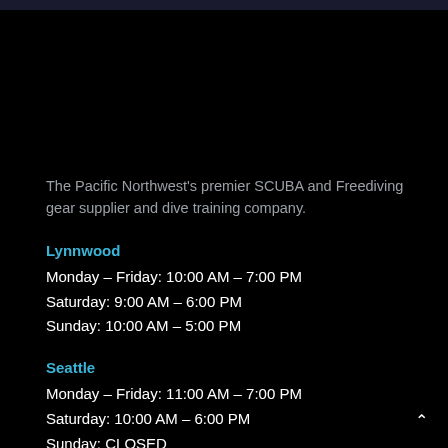The Pacific Northwest's premier SCUBA and Freediving gear supplier and dive training company.
Lynnwood
Monday – Friday: 10:00 AM – 7:00 PM
Saturday: 9:00 AM – 6:00 PM
Sunday: 10:00 AM – 5:00 PM
Seattle
Monday – Friday: 11:00 AM – 7:00 PM
Saturday: 10:00 AM – 6:00 PM
Sunday: CLOSED
Tacoma